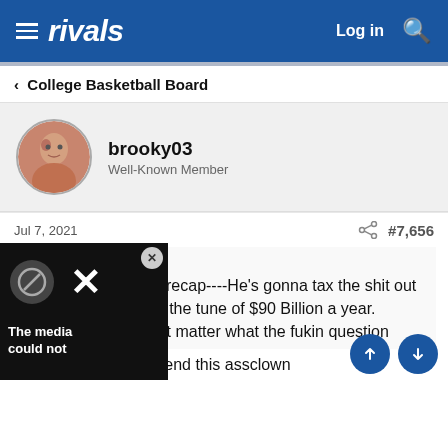rivals — Log in
College Basketball Board
brooky03
Well-Known Member
Jul 7, 2021  #7,656
IUfanBorden said:
Here, I'll give you a recap----He's gonna tax the shit out gas companies---At the tune of $90 Billion a year. What the **** does it matter what the fukin question ...all circles to defend this assclown
[Figure (screenshot): Video overlay with X icon and caption 'The media could not be loaded']